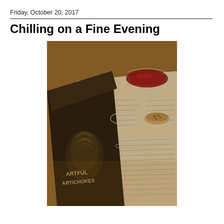Friday, October 20, 2017
Chilling on a Fine Evening
[Figure (photo): Overhead/top-down photo of a table scene featuring a cookbook titled 'Artful Artichokes' laid open with artichoke imagery on the cover, an open magazine or newspaper spread with text columns, a glass of red wine, an empty wine glass, and a small bowl of nuts or granola, all on a warm wooden table surface with ambient evening lighting.]